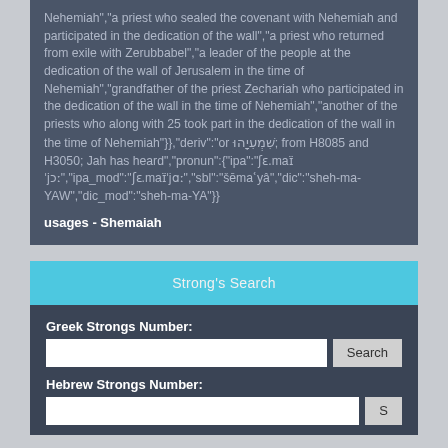Nehemiah","a priest who sealed the covenant with Nehemiah and participated in the dedication of the wall","a priest who returned from exile with Zerubbabel","a leader of the people at the dedication of the wall of Jerusalem in the time of Nehemiah","grandfather of the priest Zechariah who participated in the dedication of the wall in the time of Nehemiah","another of the priests who along with 25 took part in the dedication of the wall in the time of Nehemiah"}},"deriv":"or שִׁמְעִיָהוּ; from H8085 and H3050; Jah has heard","pronun":{"ipa":"ʃɛ.maɪ̈ˈjɔː","ipa_mod":"ʃɛ.maɪ̈ˈjɑː","sbl":"šēmaʿyâ","dic":"sheh-ma-YAW","dic_mod":"sheh-ma-YA"}}
usages - Shemaiah
Strong's Search
Greek Strongs Number:
Hebrew Strongs Number: